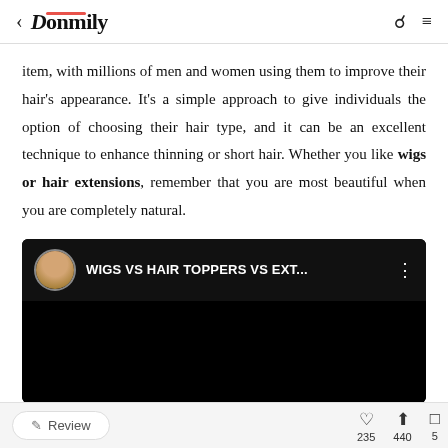Donmily
item, with millions of men and women using them to improve their hair's appearance. It's a simple approach to give individuals the option of choosing their hair type, and it can be an excellent technique to enhance thinning or short hair. Whether you like wigs or hair extensions, remember that you are most beautiful when you are completely natural.
[Figure (screenshot): YouTube video thumbnail with title 'WIGS VS HAIR TOPPERS VS EXT...' and a female avatar on black background]